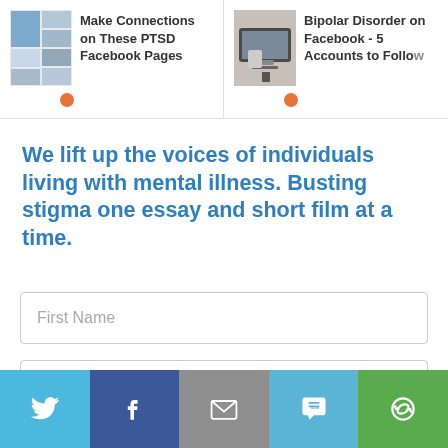[Figure (screenshot): Two article cards: 'Make Connections on These PTSD Facebook Pages' with a collage image, and 'Bipolar Disorder on Facebook - 5 Accounts to Follow' with a laptop/phone image. Each has an orange notification dot.]
We lift up the voices of individuals living with mental illness. Busting stigma one essay and short film at a time.
First Name
Email Address
JOIN THE MOVEMENT
[Figure (infographic): Social sharing bar with five colored buttons: Twitter (light blue), Facebook (dark blue), Email (gray), SMS (teal), and a circular arrow icon (green).]